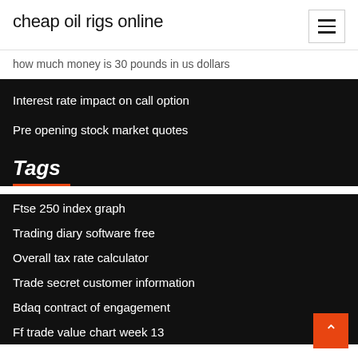cheap oil rigs online
how much money is 30 pounds in us dollars
Interest rate impact on call option
Pre opening stock market quotes
Tags
Ftse 250 index graph
Trading diary software free
Overall tax rate calculator
Trade secret customer information
Bdaq contract of engagement
Ff trade value chart week 13